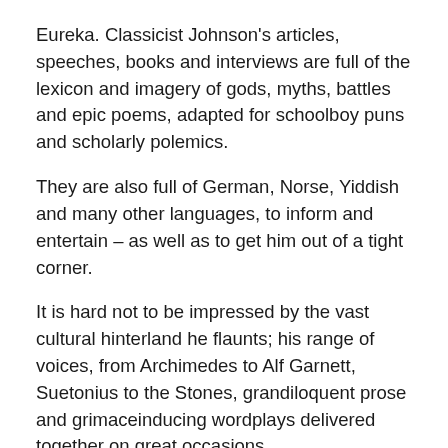Eureka. Classicist Johnson's articles, speeches, books and interviews are full of the lexicon and imagery of gods, myths, battles and epic poems, adapted for schoolboy puns and scholarly polemics.
They are also full of German, Norse, Yiddish and many other languages, to inform and entertain – as well as to get him out of a tight corner.
It is hard not to be impressed by the vast cultural hinterland he flaunts; his range of voices, from Archimedes to Alf Garnett, Suetonius to the Stones, grandiloquent prose and grimaceinducing wordplays delivered together on great occasions.
One minute he is Billy Bunter, all 'cripes' and 'crumbs'; the next, Mary Beard retracing the Battle of Cannae; then it is a cod-Churchill, replacing the V for victory with a walrus-like, flapping